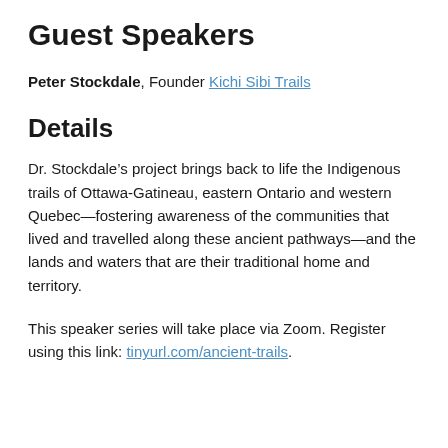Guest Speakers
Peter Stockdale, Founder Kichi Sibi Trails
Details
Dr. Stockdale’s project brings back to life the Indigenous trails of Ottawa-Gatineau, eastern Ontario and western Quebec—fostering awareness of the communities that lived and travelled along these ancient pathways—and the lands and waters that are their traditional home and territory.
This speaker series will take place via Zoom. Register using this link: tinyurl.com/ancient-trails.